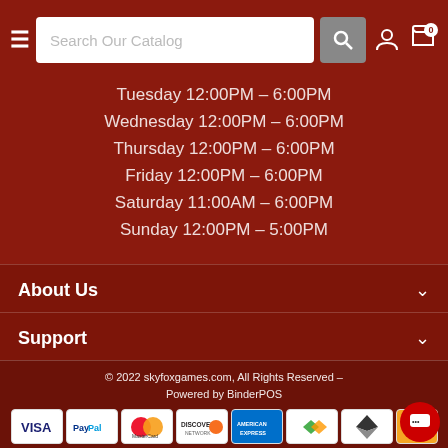Search Our Catalog
Tuesday 12:00PM - 6:00PM
Wednesday 12:00PM - 6:00PM
Thursday 12:00PM - 6:00PM
Friday 12:00PM - 6:00PM
Saturday 11:00AM - 6:00PM
Sunday 12:00PM - 5:00PM
About Us
Support
© 2022 skyfoxgames.com, All Rights Reserved - Powered by BinderPOS